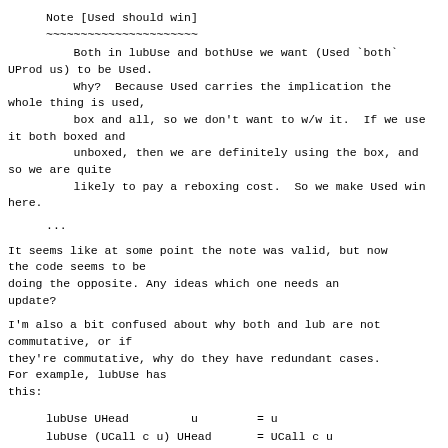Note [Used should win]
~~~~~~~~~~~~~~~~~~~~~~
Both in lubUse and bothUse we want (Used `both`
UProd us) to be Used.
    Why?  Because Used carries the implication the
whole thing is used,
    box and all, so we don't want to w/w it.  If we use
it both boxed and
    unboxed, then we are definitely using the box, and
so we are quite
    likely to pay a reboxing cost.  So we make Used win
here.
...
It seems like at some point the note was valid, but now
the code seems to be
doing the opposite. Any ideas which one needs an
update?
I'm also a bit confused about why both and lub are not
commutative, or if
they're commutative, why do they have redundant cases.
For example, lubUse has
this:
| lubUse UHead         u | = u |
| lubUse (UCall c u) UHead | = UCall c u |